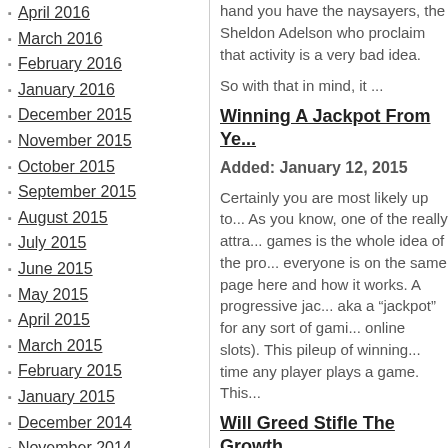April 2016
March 2016
February 2016
January 2016
December 2015
November 2015
October 2015
September 2015
August 2015
July 2015
June 2015
May 2015
April 2015
March 2015
February 2015
January 2015
December 2014
November 2014
October 2014
September 2014
August 2014
July 2014
June 2014
May 2014
April 2014
March 2014
hand you have the naysayers, the Sheldon Adelson who proclaim that activity is a very bad idea.
So with that in mind, it ...
Winning A Jackpot From Ye...
Added: January 12, 2015
Certainly you are most likely up to ... As you know, one of the really attra... games is the whole idea of the pro... everyone is on the same page here and how it works. A progressive jac... aka a “jackpot” for any sort of gami... online slots). This pileup of winning... time any player plays a game. This...
Will Greed Stifle The Growth...
Added: January 5, 2015